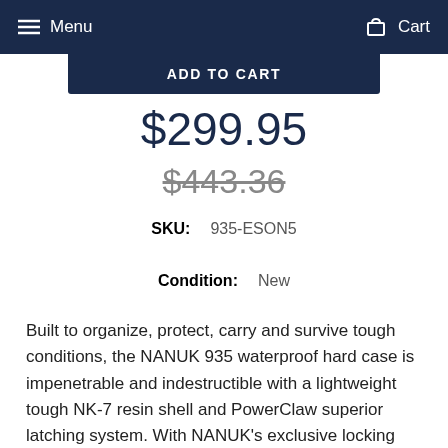Menu  Cart
ADD TO CART
$299.95
$443.36
SKU:  935-ESON5
Condition:  New
Built to organize, protect, carry and survive tough conditions, the NANUK 935 waterproof hard case is impenetrable and indestructible with a lightweight tough NK-7 resin shell and PowerClaw superior latching system. With NANUK's exclusive locking and latching system, your case stays shut and